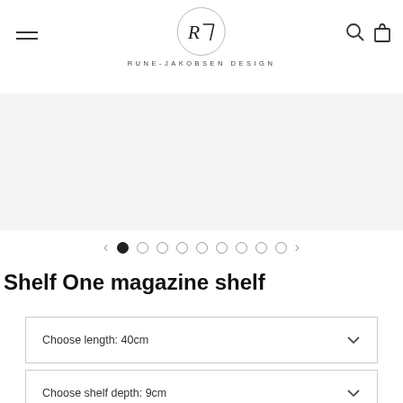RUNE-JAKOBSEN DESIGN
[Figure (other): Product image area (light gray, blank/empty)]
[Figure (other): Carousel navigation with left arrow, 9 dots (first filled), and right arrow]
Shelf One magazine shelf
Choose length: 40cm
Choose shelf depth: 9cm
Select wood type: Egetræ